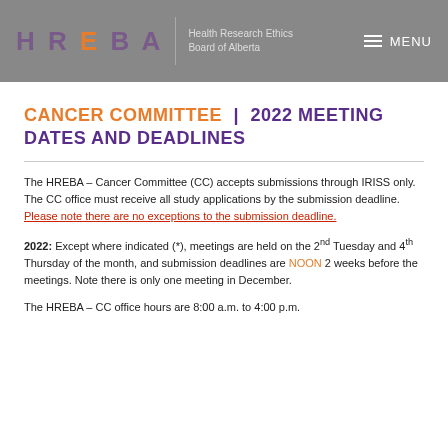HREBA | Health Research Ethics Board of Alberta | MENU
CANCER COMMITTEE | 2022 MEETING DATES AND DEADLINES
The HREBA – Cancer Committee (CC) accepts submissions through IRISS only. The CC office must receive all study applications by the submission deadline. Please note there are no exceptions to the submission deadline.
2022: Except where indicated (*), meetings are held on the 2nd Tuesday and 4th Thursday of the month, and submission deadlines are NOON 2 weeks before the meetings. Note there is only one meeting in December.
The HREBA – CC office hours are 8:00 a.m. to 4:00 p.m.